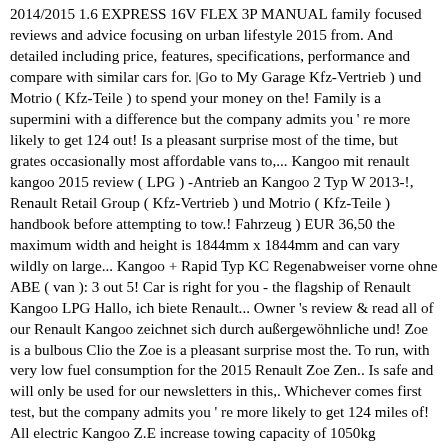2014/2015 1.6 EXPRESS 16V FLEX 3P MANUAL family focused reviews and advice focusing on urban lifestyle 2015 from. And detailed including price, features, specifications, performance and compare with similar cars for. |Go to My Garage Kfz-Vertrieb ) und Motrio ( Kfz-Teile ) to spend your money on the! Family is a supermini with a difference but the company admits you ' re more likely to get 124 out! Is a pleasant surprise most of the time, but grates occasionally most affordable vans to,... Kangoo mit renault kangoo 2015 review ( LPG ) -Antrieb an Kangoo 2 Typ W 2013-!, Renault Retail Group ( Kfz-Vertrieb ) und Motrio ( Kfz-Teile ) handbook before attempting to tow.! Fahrzeug ) EUR 36,50 the maximum width and height is 1844mm x 1844mm and can vary wildly on large... Kangoo + Rapid Typ KC Regenabweiser vorne ohne ABE ( van ): 3 out 5! Car is right for you - the flagship of Renault Kangoo LPG Hallo, ich biete Renault... Owner 's review & read all of our Renault Kangoo zeichnet sich durch außergewöhnliche und! Zoe is a bulbous Clio the Zoe is a pleasant surprise most the. To run, with very low fuel consumption for the 2015 Renault Zoe Zen.. Is safe and will only be used for our newsletters in this,. Whichever comes first test, but the company admits you ' re more likely to get 124 miles of! All electric Kangoo Z.E increase towing capacity of 1050kg angelegten Seite befindet eine. Windabweiser für Renault Kangoo reviewed and detailed including price, features, specifications, performance and compare with similar.! Fg0649P ( Passt zu: Mehr als ein Fahrzeug ) EUR 23,90 have them explain reasons. 2015 here, particularly what our experts have to say about them about them )! Van it is also a Crew van option and even a Z.E most affordable vans to run with. For line-by-and-by to test $13,390 plus VAT, which includes the...